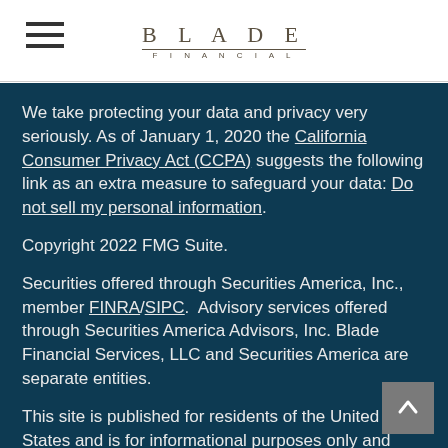BLADE FINANCIAL
We take protecting your data and privacy very seriously. As of January 1, 2020 the California Consumer Privacy Act (CCPA) suggests the following link as an extra measure to safeguard your data: Do not sell my personal information.
Copyright 2022 FMG Suite.
Securities offered through Securities America, Inc., member FINRA/SIPC.  Advisory services offered through Securities America Advisors, Inc. Blade Financial Services, LLC and Securities America are separate entities.
This site is published for residents of the United States and is for informational purposes only and